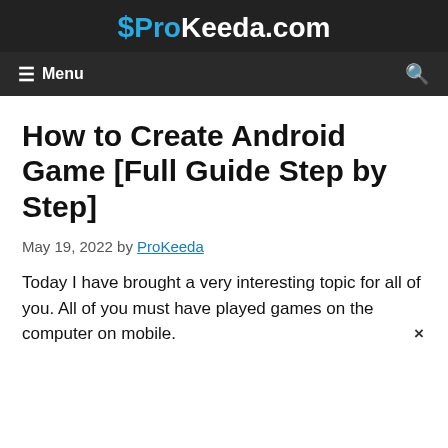ProKeeda.com
Menu
How to Create Android Game [Full Guide Step by Step]
May 19, 2022 by ProKeeda
Today I have brought a very interesting topic for all of you. All of you must have played games on the computer on mobile.